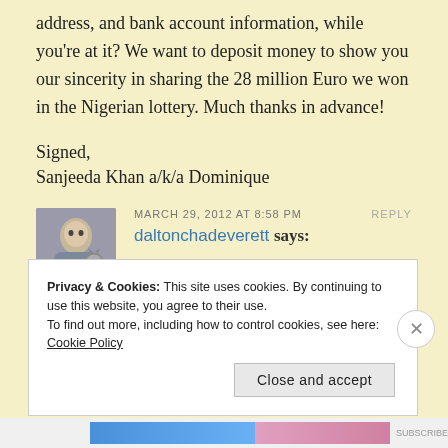address, and bank account information, while you're at it? We want to deposit money to show you our sincerity in sharing the 28 million Euro we won in the Nigerian lottery. Much thanks in advance!
Signed,
Sanjeeda Khan a/k/a Dominique
MARCH 29, 2012 AT 8:58 PM
daltonchadeverett says:
REPLY
[Figure (photo): Avatar/profile photo of a person holding a cat]
Privacy & Cookies: This site uses cookies. By continuing to use this website, you agree to their use.
To find out more, including how to control cookies, see here: Cookie Policy
Close and accept